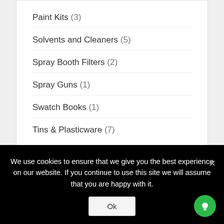Paint Kits (3)
Solvents and Cleaners (5)
Spray Booth Filters (2)
Spray Guns (1)
Swatch Books (1)
Tins & Plasticware (7)
Price
We use cookies to ensure that we give you the best experience on our website. If you continue to use this site we will assume that you are happy with it.